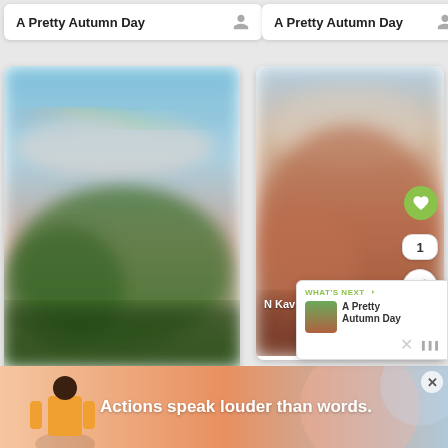[Figure (screenshot): Top-left card showing 'A Pretty Autumn Day' title with user icon]
[Figure (screenshot): Top-right card showing 'A Pretty Autumn Day' title with user icon]
[Figure (photo): Blurred autumn landscape photo - green trees with rainbow, left photo card. Username: Cronenberg89, comments: 3, title: A Pretty Autumn Day]
[Figure (photo): Blurred autumn mountain/foliage photo, right photo card. Username: N Kav. Has heart and share action buttons.]
[Figure (screenshot): What's Next overlay panel showing 'A Pretty Autumn Day' thumbnail]
[Figure (screenshot): Ad banner: 'Actions speak louder than words.' with illustrated figure]